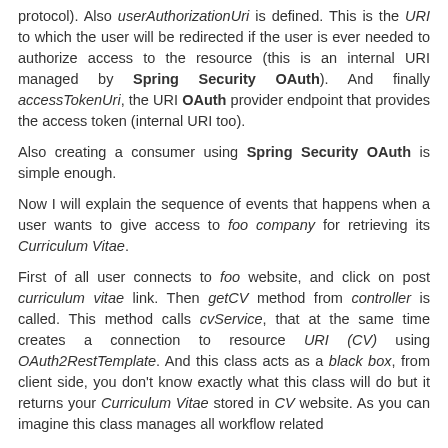protocol). Also userAuthorizationUri is defined. This is the URI to which the user will be redirected if the user is ever needed to authorize access to the resource (this is an internal URI managed by Spring Security OAuth). And finally accessTokenUri, the URI OAuth provider endpoint that provides the access token (internal URI too).
Also creating a consumer using Spring Security OAuth is simple enough.
Now I will explain the sequence of events that happens when a user wants to give access to foo company for retrieving its Curriculum Vitae.
First of all user connects to foo website, and click on post curriculum vitae link. Then getCV method from controller is called. This method calls cvService, that at the same time creates a connection to resource URI (CV) using OAuth2RestTemplate. And this class acts as a black box, from client side, you don't know exactly what this class will do but it returns your Curriculum Vitae stored in CV website. As you can imagine this class manages all workflow related